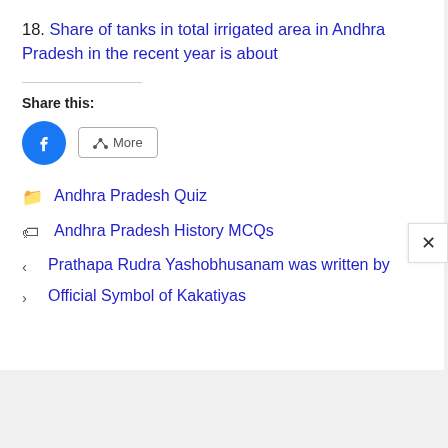18. Share of tanks in total irrigated area in Andhra Pradesh in the recent year is about
Share this:
[Figure (other): Facebook share button (blue circle with white f icon) and a More share button with share icon]
Andhra Pradesh Quiz
Andhra Pradesh History MCQs
Prathapa Rudra Yashobhusanam was written by
Official Symbol of Kakatiyas